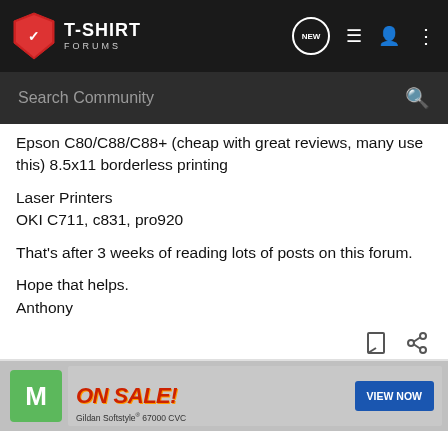T-SHIRT FORUMS
Epson C80/C88/C88+ (cheap with great reviews, many use this) 8.5x11 borderless printing
Laser Printers
OKI C711, c831, pro920
That's after 3 weeks of reading lots of posts on this forum.
Hope that helps.
Anthony
[Figure (screenshot): Advertisement banner: ON SALE! Gildan Softstyle 67000 CVC with VIEW NOW button]